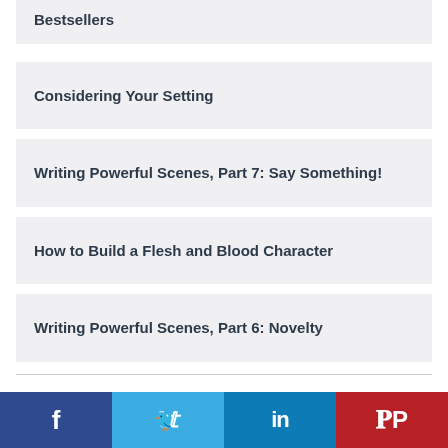Bestsellers
Considering Your Setting
Writing Powerful Scenes, Part 7: Say Something!
How to Build a Flesh and Blood Character
Writing Powerful Scenes, Part 6: Novelty
f  Twitter  in  Pinterest